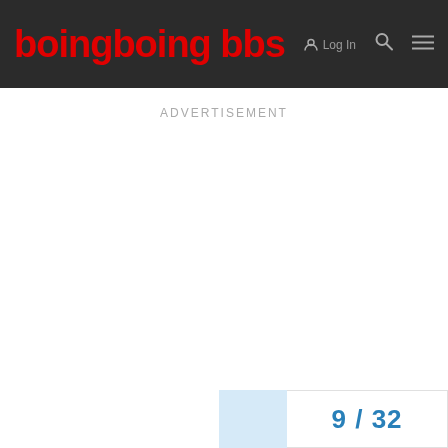boingboing bbs
ADVERTISEMENT
9 / 32